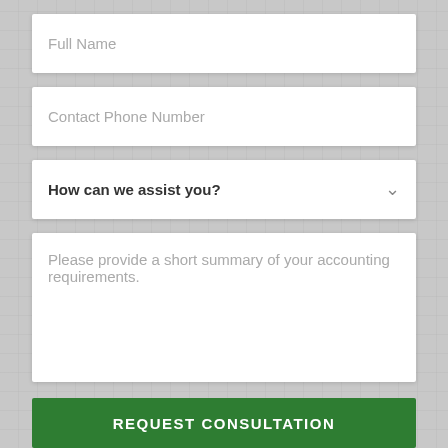Full Name
Contact Phone Number
How can we assist you?
Please provide a short summary of your accounting requirements.
REQUEST CONSULTATION